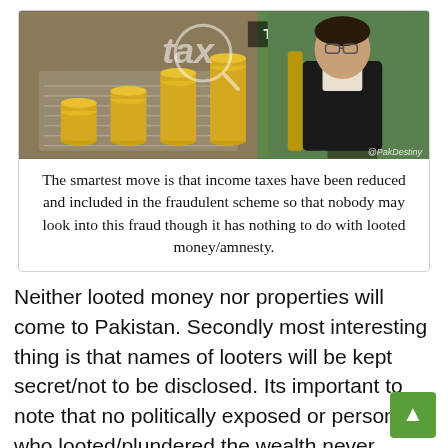[Figure (photo): Composite image: left side shows coins stacked on financial documents with 'TAX AMNESTY tax' text overlay; right side shows a man in glasses and traditional dress speaking at a podium. Watermark: @PakDestiny]
The smartest move is that income taxes have been reduced and included in the fraudulent scheme so that nobody may look into this fraud though it has nothing to do with looted money/amnesty.
Neither looted money nor properties will come to Pakistan. Secondly most interesting thing is that names of looters will be kept secret/not to be disclosed. Its important to note that no politically exposed or person who looted/plundered the wealth never keeps mo or properties on their own name. This smart move by the PMLN government not